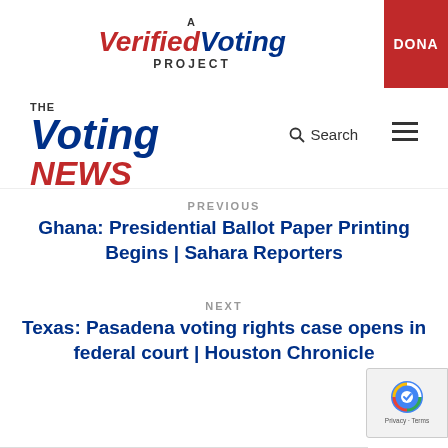A Verified Voting Project | DONATE
[Figure (logo): The Voting News logo with search and hamburger menu icons]
PREVIOUS
Ghana: Presidential Ballot Paper Printing Begins | Sahara Reporters
NEXT
Texas: Pasadena voting rights case opens in federal court | Houston Chronicle